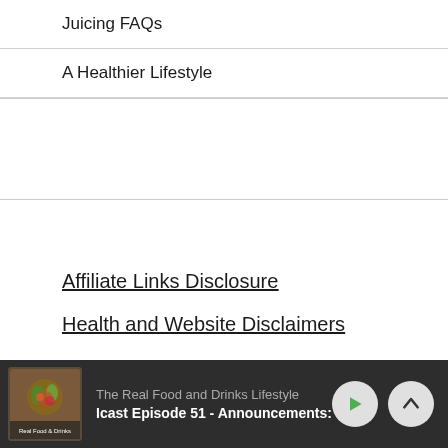Juicing FAQs
A Healthier Lifestyle
Affiliate Links Disclosure
Health and Website Disclaimers
The Real Food and Drinks Lifestyle
Icast Episode 51 - Announcements: